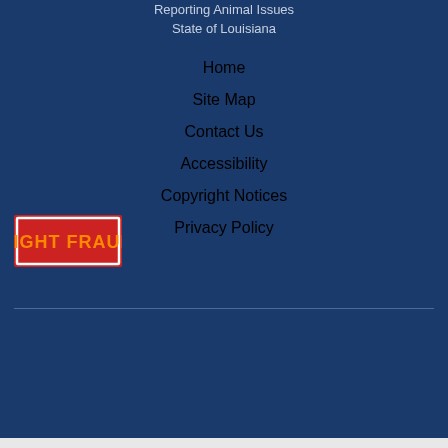Reporting Animal Issues
State of Louisiana
Home
Site Map
Contact Us
Accessibility
Copyright Notices
Privacy Policy
[Figure (logo): Fight Fraud badge with red background, orange text reading FIGHT FRAUD, white border]
[Figure (illustration): Settings gear icon in circular button]
[Figure (illustration): Share icon in circular button]